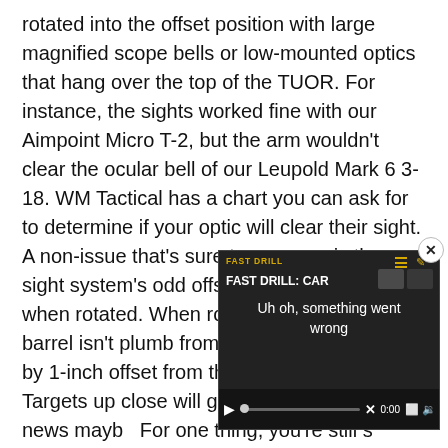rotated into the offset position with large magnified scope bells or low-mounted optics that hang over the top of the TUOR. For instance, the sights worked fine with our Aimpoint Micro T-2, but the arm wouldn't clear the ocular bell of our Leupold Mark 6 3-18. WM Tactical has a chart you can ask for to determine if your optic will clear their sight. A non-issue that's sure to come up is the sight system's odd offset from the bore axis when rotated. When rolled to the side, the barrel isn't plumb from the sights. It's 1-inch by 1-inch offset from the bore. It's not a big... Targets up close will get th... will still get the news mayb... For one thing, you're still s...
[Figure (screenshot): A video player overlay in the bottom-right of the page showing an error state: 'FAST DRILL: CAR' title with 'Uh oh, something went wrong' message, with muted audio icon, playback controls (play button, progress bar, X button, 0:00 timestamp, fullscreen button), and a close (x) button in the top-right corner of the overlay.]